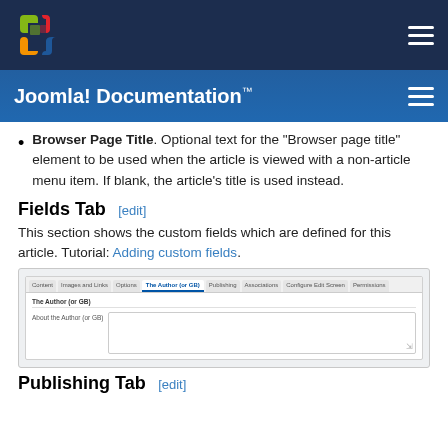Joomla! Documentation™
Browser Page Title. Optional text for the "Browser page title" element to be used when the article is viewed with a non-article menu item. If blank, the article's title is used instead.
Fields Tab [edit]
This section shows the custom fields which are defined for this article. Tutorial: Adding custom fields.
[Figure (screenshot): Screenshot of the Fields Tab interface in Joomla article editor showing tabs: Content, Images and Links, Options, The Author (or GB), Publishing, Associations, Configure Edit Screen, Permissions. The active tab is 'The Author (or GB)' with a section labeled 'The Author (or GB)' and a field row 'About the Author (or GB)' with a text area input.]
Publishing Tab [edit]